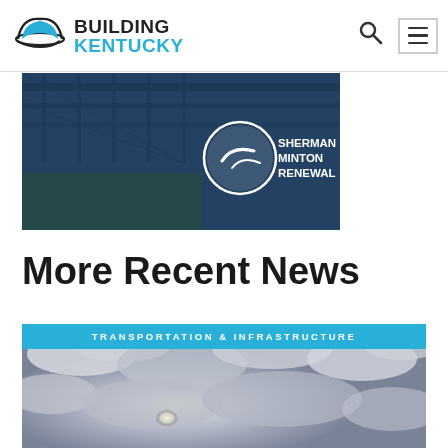BUILDING KENTUCKY
[Figure (photo): Sherman Minton Bridge renewal project promotional banner with blue overlay and circular logo showing 'Sherman Minton Renewal']
More Recent News
TRANSPORTATION & INFRASTRUCTURE
[Figure (photo): Sky with dramatic clouds and bright sunlight breaking through, used as article thumbnail for Transportation & Infrastructure news item]